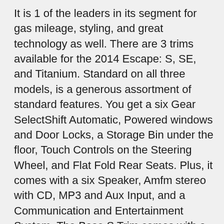It is 1 of the leaders in its segment for gas mileage, styling, and great technology as well. There are 3 trims available for the 2014 Escape: S, SE, and Titanium. Standard on all three models, is a generous assortment of standard features. You get a six Gear SelectShift Automatic, Powered windows and Door Locks, a Storage Bin under the floor, Touch Controls on the Steering Wheel, and Flat Fold Rear Seats. Plus, it comes with a six Speaker, Amfm stereo with CD, MP3 and Aux Input, and a Communication and Entertainment System. The Base S Trim comes with a 2.5-Liter, four Cyl Engine with 168 Horsepower that gets an EPA estimated 22 MILES-PER-GALLON in the City and 31 MILES-PER-GALLON on the Highway. Plus the base also comes standard with the MyKey system for parents of younger drivers. The SE and Titanium come standard with a 1.6-Liter EcoBoost engine, with an optional 2.0-Liter EcoBoost I-4 engine available instead. Bought as a two-wheel drive, the 1.6-Liter gets an EPA Estimated 23 MILES-PER-GALLON